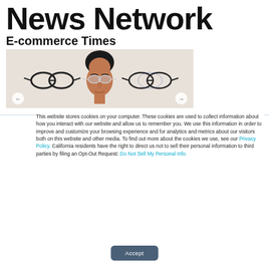News Network
E-commerce Times
[Figure (illustration): Illustration of a person wearing round glasses, with two other pairs of glasses displayed to the left and right, on a beige background. Navigation arrows on left and right edges.]
This website stores cookies on your computer. These cookies are used to collect information about how you interact with our website and allow us to remember you. We use this information in order to improve and customize your browsing experience and for analytics and metrics about our visitors both on this website and other media. To find out more about the cookies we use, see our Privacy Policy. California residents have the right to direct us not to sell their personal information to third parties by filing an Opt-Out Request: Do Not Sell My Personal Info.
Accept